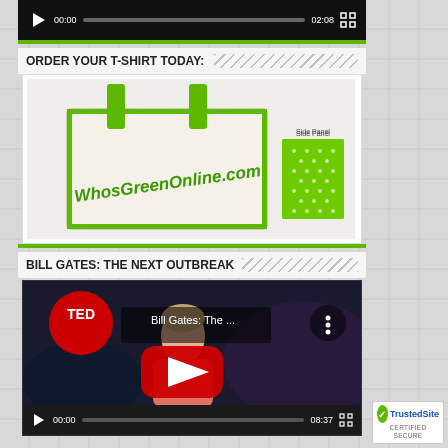[Figure (screenshot): Cropped video player showing black controls bar with play button, time 00:00, progress bar, time 02:08, and fullscreen button]
ORDER YOUR T-SHIRT TODAY:
[Figure (photo): Photo of a canvas tote bag with green handles and straps, printed with 'WhosGreenOnline.com' in green text, alongside a green side panel swatch with white star/dot pattern]
BILL GATES: THE NEXT OUTBREAK
[Figure (screenshot): YouTube video embed thumbnail for TED talk 'Bill Gates: The ...' showing Bill Gates on stage with large red YouTube play button and TED logo, video controls showing 00:00 / 08:37]
[Figure (logo): TrustedSite CERTIFIED SECURE badge in bottom right corner]